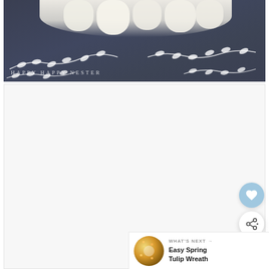[Figure (photo): Chalkboard background with white leaf vine decorations and white tulips at the top. Watermark text 'HAPPY HAPPY NESTER' in white serif font at bottom left.]
[Figure (photo): White/light gray blank image area with a heart (favorite) button and share button on the right side, and a 'What's Next' panel in the bottom right showing 'Easy Spring Tulip Wreath' with a circular wreath thumbnail.]
WHAT'S NEXT → Easy Spring Tulip Wreath